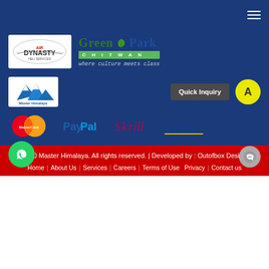[Figure (logo): Air Dynasty Heli Services logo - white background with red and dark text]
[Figure (logo): Green Park Chitwan logo - green text with leaf icon, green banner with CHITWAN, tagline where culture meets class]
[Figure (logo): Master Himalaya logo - white background with mountains illustration]
[Figure (other): Quick Inquiry button (dark grey) and yellow avatar circle with letter A]
[Figure (logo): Payment logos: MasterCard, PayPal, Skrill, VISA]
2020 Master Himalaya. All rights reserved. | Developed by : Outofbox Design
Home | About Us | Services | Careers | Terms of Use | Privacy | Contact us